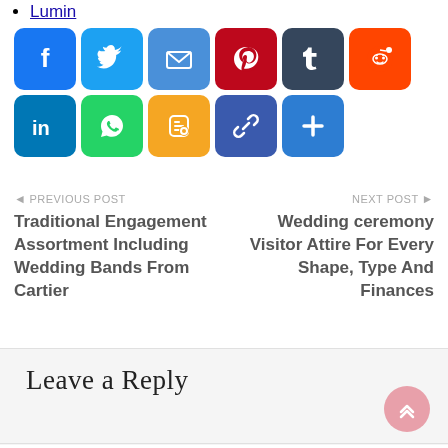Lumin
[Figure (infographic): Row of social sharing icon buttons: Facebook, Twitter, Email, Pinterest, Tumblr, Reddit, LinkedIn, WhatsApp, Blogger, Copy Link, and a Plus/More button]
◄ PREVIOUS POST
Traditional Engagement Assortment Including Wedding Bands From Cartier
NEXT POST ►
Wedding ceremony Visitor Attire For Every Shape, Type And Finances
Leave a Reply
You must be logged in to post a comment.